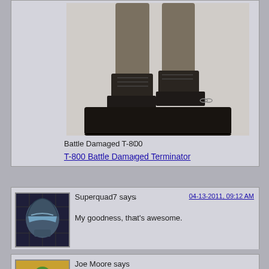[Figure (photo): Action figure of Battle Damaged T-800 Terminator standing on a black base, wearing brown/grey clothing and black boots, shown from the waist down]
Battle Damaged T-800
T-800 Battle Damaged Terminator
Superquad7 says
04-13-2011, 09:12 AM
My goodness, that's awesome.
[Figure (photo): Avatar image of RoboCop helmet/visor in dark blue and silver tones]
Joe Moore says
[Figure (photo): Avatar image with green character on yellow/tan background]